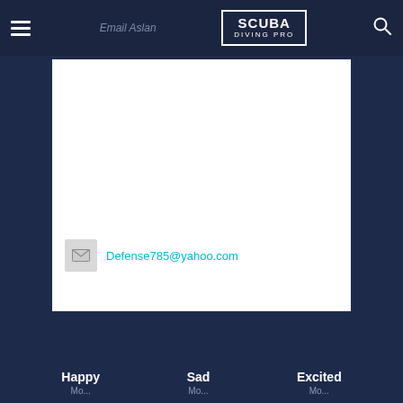Email Author | SCUBA DIVING PRO
Defense785@yahoo.com
Happy
Sad
Excited